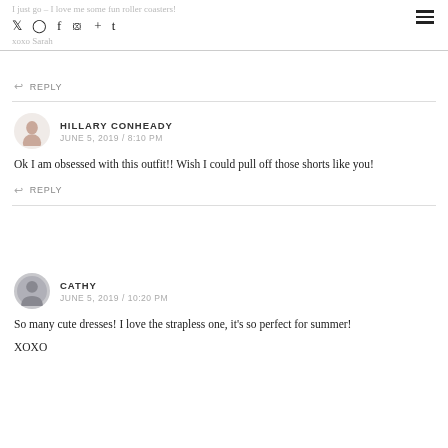I just go – I love me some fun roller coasters!
↩ REPLY
HILLARY CONHEADY
JUNE 5, 2019 / 8:10 PM
Ok I am obsessed with this outfit!! Wish I could pull off those shorts like you!
↩ REPLY
CATHY
JUNE 5, 2019 / 10:20 PM
So many cute dresses! I love the strapless one, it's so perfect for summer!

XOXO